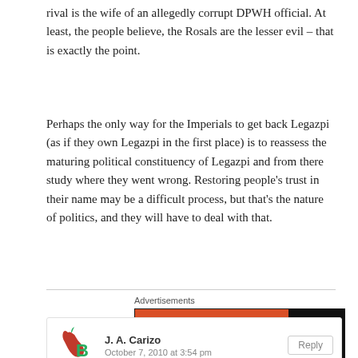rival is the wife of an allegedly corrupt DPWH official. At least, the people believe, the Rosals are the lesser evil – that is exactly the point.
Perhaps the only way for the Imperials to get back Legazpi (as if they own Legazpi in the first place) is to reassess the maturing political constituency of Legazpi and from there study where they went wrong. Restoring people's trust in their name may be a difficult process, but that's the nature of politics, and they will have to deal with that.
[Figure (screenshot): DuckDuckGo advertisement banner: orange left panel with text 'Search, browse, and email with more privacy. All in One Free App', dark right panel with DuckDuckGo logo and name.]
J. A. Carizo
October 7, 2010 at 3:54 pm